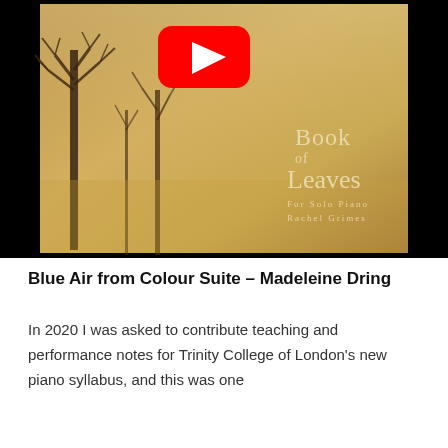[Figure (screenshot): YouTube video thumbnail showing a misty/foggy scene with bare winter trees against a golden-brown sky. A large red YouTube play button is centered in the upper portion. Text on the right reads 'Book of Leaves / For Solo Piano / Rachel Grimes'. The thumbnail has a black border/letterbox.]
Blue Air from Colour Suite – Madeleine Dring
In 2020 I was asked to contribute teaching and performance notes for Trinity College of London's new piano syllabus, and this was one